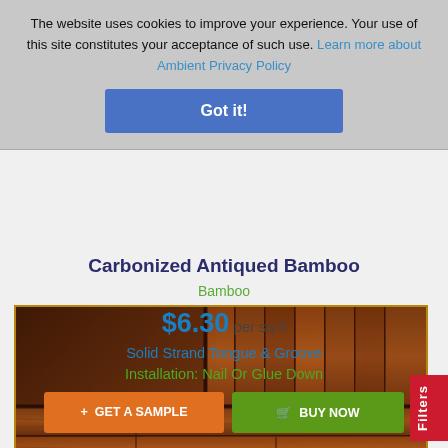The website uses cookies to improve your experience. Your use of this site constitutes your acceptance of such use. Learn more about Ambient Privacy Policy
Got it!
[Figure (photo): Close-up photo of carbonized antiqued bamboo flooring showing tongue and groove plank edges with rich brown wood grain texture]
Carbonized Antiqued Bamboo
Bamboo
$6.30 per sq ft
Solid Strand Tongue & Groove
Installation: Nail Or Glue Down
+ GET A SAMPLE
🛒 BUY NOW